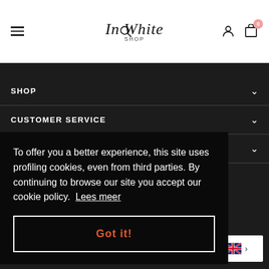[Figure (screenshot): InWhite.shop website header with hamburger menu, search icon, logo, user icon and cart with badge 0]
SHOP
CUSTOMER SERVICE
To offer you a better experience, this site uses profiling cookies, even from third parties. By continuing to browse our site you accept our cookie policy. Lees meer
Got it!